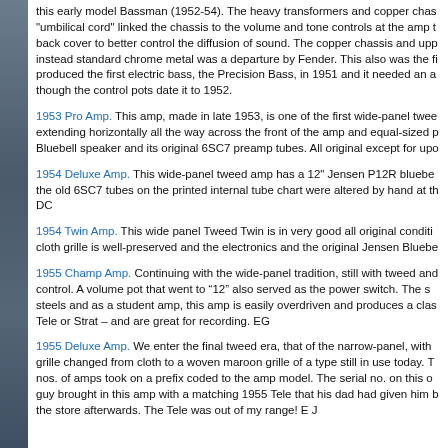this early model Bassman (1952-54). The heavy transformers and copper chas "umbilical cord" linked the chassis to the volume and tone controls at the amp t back cover to better control the diffusion of sound. The copper chassis and uppe instead standard chrome metal was a departure by Fender. This also was the fi produced the first electric bass, the Precision Bass, in 1951 and it needed an a though the control pots date it to 1952.
1953 Pro Amp. This amp, made in late 1953, is one of the first wide-panel twee extending horizontally all the way across the front of the amp and equal-sized p Bluebell speaker and its original 6SC7 preamp tubes. All original except for upo
1954 Deluxe Amp. This wide-panel tweed amp has a 12" Jensen P12R bluebe the old 6SC7 tubes on the printed internal tube chart were altered by hand at th DC
1954 Twin Amp. This wide panel Tweed Twin is in very good all original conditi cloth grille is well-preserved and the electronics and the original Jensen Bluebe
1955 Champ Amp. Continuing with the wide-panel tradition, still with tweed and control. A volume pot that went to “12” also served as the power switch. The s steels and as a student amp, this amp is easily overdriven and produces a clas Tele or Strat – and are great for recording. EG
1955 Deluxe Amp. We enter the final tweed era, that of the narrow-panel, with grille changed from cloth to a woven maroon grille of a type still in use today. T nos. of amps took on a prefix coded to the amp model. The serial no. on this o guy brought in this amp with a matching 1955 Tele that his dad had given him b the store afterwards. The Tele was out of my range! E J